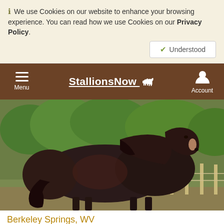ⓘ We use Cookies on our website to enhance your browsing experience. You can read how we use Cookies on our Privacy Policy.
✔ Understood
≡ Menu   StallionsNow 🐴   Account
[Figure (photo): A dark bay/black horse standing in a paddock with green trees and a wooden fence in the background. The horse is facing right and appears to be a stallion.]
Berkeley Springs, WV